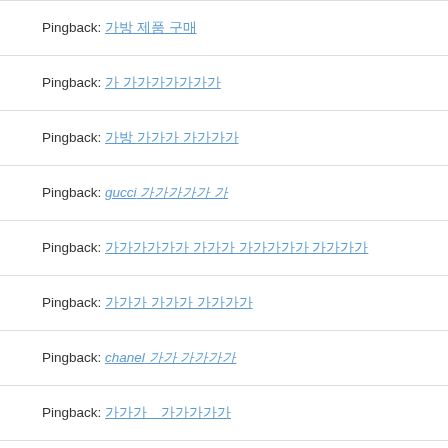Pingback: 가방 제품 구매
Pingback: 가 가가가가가가가
Pingback: 가방 가가가 가가가가
Pingback: gucci 가가가가가 가
Pingback: 가가가가가가 가가가 가가가가가 가가가가
Pingback: 가가가 가가가 가가가가
Pingback: chanel 가가 가가가가
Pingback: 가가가　가가가가가